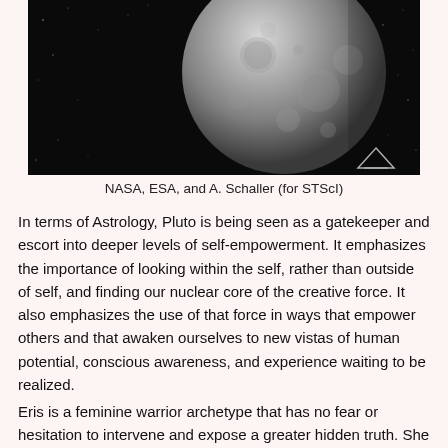[Figure (photo): Black and white space photograph showing a large spherical planetary body (Pluto or similar dwarf planet) with a cratered surface against a black starfield background. A small icon/watermark appears in the lower right of the image.]
NASA, ESA, and A. Schaller (for STScI)
In terms of Astrology, Pluto is being seen as a gatekeeper and escort into deeper levels of self-empowerment. It emphasizes the importance of looking within the self, rather than outside of self, and finding our nuclear core of the creative force. It also emphasizes the use of that force in ways that empower others and that awaken ourselves to new vistas of human potential, conscious awareness, and experience waiting to be realized.
Eris is a feminine warrior archetype that has no fear or hesitation to intervene and expose a greater hidden truth. She